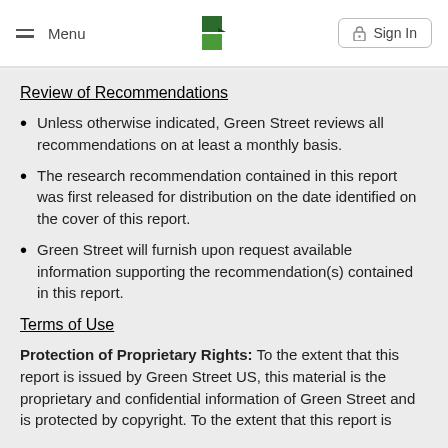Menu | [Green Street Logo] | Sign In
Review of Recommendations
Unless otherwise indicated, Green Street reviews all recommendations on at least a monthly basis.
The research recommendation contained in this report was first released for distribution on the date identified on the cover of this report.
Green Street will furnish upon request available information supporting the recommendation(s) contained in this report.
Terms of Use
Protection of Proprietary Rights: To the extent that this report is issued by Green Street US, this material is the proprietary and confidential information of Green Street and is protected by copyright. To the extent that this report is